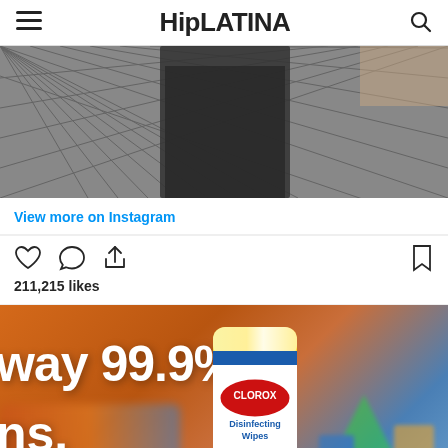HipLATINA
[Figure (photo): Instagram post showing someone in dark jeans standing by a chain-link fence]
View more on Instagram
211,215 likes
[Figure (photo): Clorox Disinfecting Wipes advertisement with text 'way 99.9%' and 'ns.' on an orange background with school supplies]